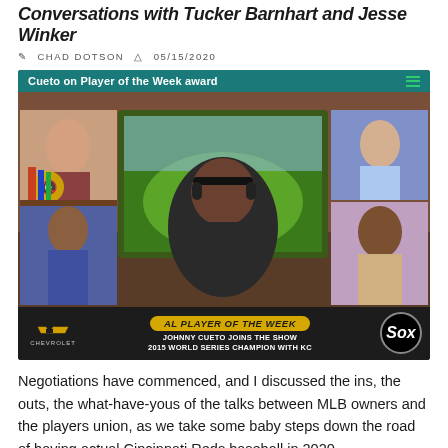Conversations with Tucker Barnhart and Jesse Winker
Chad Dotson  05/15/2020
[Figure (screenshot): Video screenshot showing MLB Network show with 'Cueto on Player of the Week award' header. The show features multiple guests on a broadcast set. A lower third reads 'AL PLAYER OF THE WEEK - JOHNNY CUETO JOINS THE SHOW - 2015 WORLD SERIES CHAMPION WITH KC' with Chevrolet and Chicago White Sox logos.]
Negotiations have commenced, and I discussed the ins, the outs, the what-have-yous of the talks between MLB owners and the players union, as we take some baby steps down the road of having actual Cincinnati Reds baseball in 2020.